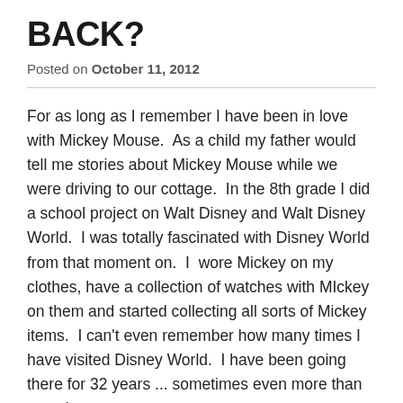BACK?
Posted on October 11, 2012
For as long as I remember I have been in love with Mickey Mouse.  As a child my father would tell me stories about Mickey Mouse while we were driving to our cottage.  In the 8th grade I did a school project on Walt Disney and Walt Disney World.  I was totally fascinated with Disney World from that moment on.  I  wore Mickey on my clothes, have a collection of watches with MIckey on them and started collecting all sorts of Mickey items.  I can't even remember how many times I have visited Disney World.  I have been going there for 32 years ... sometimes even more than once in a year.